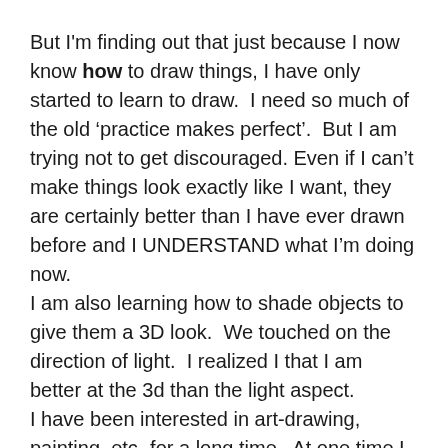But I'm finding out that just because I now know how to draw things, I have only started to learn to draw.  I need so much of the old ‘practice makes perfect’.  But I am trying not to get discouraged. Even if I can't make things look exactly like I want, they are certainly better than I have ever drawn before and I UNDERSTAND what I'm doing now.
I am also learning how to shade objects to give them a 3D look.  We touched on the direction of light.  I realized I that I am better at the 3d than the light aspect.
I have been interested in art-drawing, painting, etc- for a long time.  At one time I took a Bob Ross wet on wet oil painting class at Hobby Lobby.  I enjoyed it and did a few other paintings at the time, before becoming discouraged